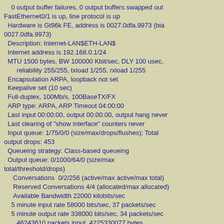0 output buffer failures, 0 output buffers swapped out
FastEthernet0/1 is up, line protocol is up
  Hardware is Gt96k FE, address is 0027.0dfa.9973 (bia 0027.0dfa.9973)
  Description: Internet-LAN$ETH-LAN$
  Internet address is 192.168.0.1/24
  MTU 1500 bytes, BW 100000 Kbit/sec, DLY 100 usec,
       reliability 255/255, txload 1/255, rxload 1/255
  Encapsulation ARPA, loopback not set
  Keepalive set (10 sec)
  Full-duplex, 100Mb/s, 100BaseTX/FX
  ARP type: ARPA, ARP Timeout 04:00:00
  Last input 00:00:00, output 00:00:00, output hang never
  Last clearing of "show interface" counters never
  Input queue: 1/75/0/0 (size/max/drops/flushes); Total output drops: 453
  Queueing strategy: Class-based queueing
  Output queue: 0/1000/64/0 (size/max total/threshold/drops)
     Conversations  0/2/256 (active/max active/max total)
     Reserved Conversations 4/4 (allocated/max allocated)
     Available Bandwidth 22000 kilobits/sec
    5 minute input rate 58000 bits/sec, 37 packets/sec
    5 minute output rate 338000 bits/sec, 34 packets/sec
       46243610 packets input, 4225330077 bytes
       Received 213409 broadcasts, 0 runts, 33 giants, 0 throttles
       33 input errors, 0 CRC, 0 frame, 0 overrun, 0 ignored